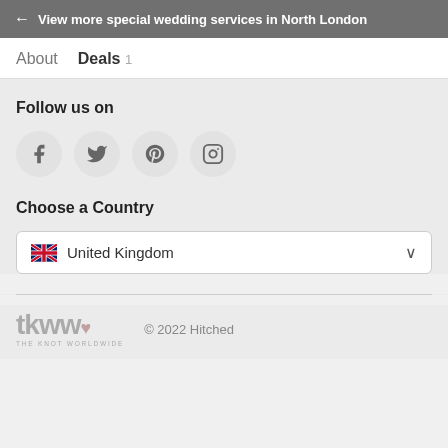← View more special wedding services in North London
About  Deals 1
Follow us on
[Figure (infographic): Four social media icons in circles: Facebook, Twitter, Pinterest, Instagram]
Choose a Country
United Kingdom
[Figure (logo): The Knot Worldwide (tkww) logo with heart and text THE KNOT WORLDWIDE]
© 2022 Hitched